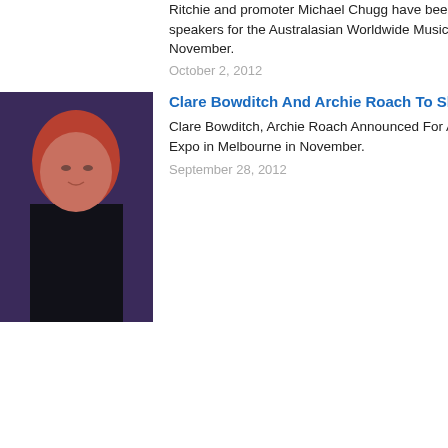Ritchie and promoter Michael Chugg have been announced as the keynote speakers for the Australasian Worldwide Music Expo (AWME) in Melbourne in November.
October 2, 2012
[Figure (photo): Photo of Clare Bowditch, a woman with long red hair wearing a black top]
Clare Bowditch And Archie Roach To Showcase At AWME
Clare Bowditch, Archie Roach Announced For Australasian Worldwide Music Expo in Melbourne in November.
September 28, 2012
[Figure (photo): Photo of a man with glasses and grey beard, partially visible]
The Church
Ja... Ta...
[Figure (logo): Noise11 logo in blue and cyan text]
Richard Clapton
Th...
Russell Morris – Van Diemen's Land
Co... No...